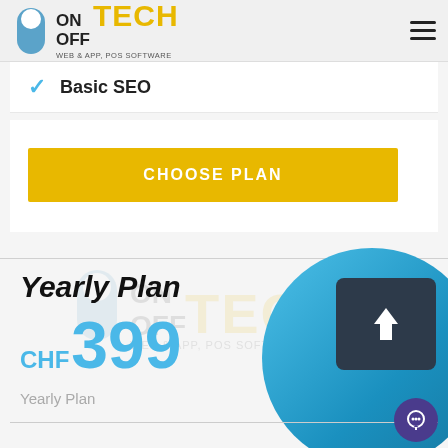1 hour Product & Service updates
[Figure (logo): ON OFF TECH logo with toggle switch icon and tagline WEB & APP, POS SOFTWARE]
Basic SEO
CHOOSE PLAN
Yearly Plan
CHF 399
Yearly Plan